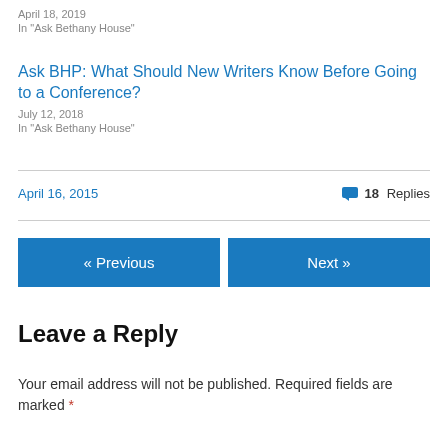April 18, 2019
In "Ask Bethany House"
Ask BHP: What Should New Writers Know Before Going to a Conference?
July 12, 2018
In "Ask Bethany House"
April 16, 2015
18 Replies
« Previous
Next »
Leave a Reply
Your email address will not be published. Required fields are marked *